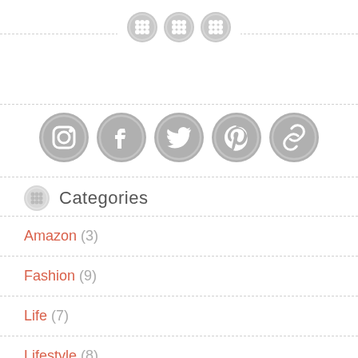[Figure (other): Three button/grid icons on a dashed horizontal line (decorative divider)]
[Figure (other): Five social media icons: Instagram, Facebook, Twitter, Pinterest, Link]
Categories
Amazon (3)
Fashion (9)
Life (7)
Lifestyle (8)